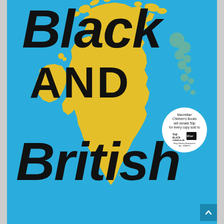[Figure (illustration): Book cover: 'Black and British' — bright blue background with a yellow silhouette map of Great Britain and Ireland. Large bold black handwritten-style text reads 'Black AND British'. A white circular badge in the upper right area reads 'Macmillan Children's Books will donate 50p for every copy sold to The Black Curriculum'.]